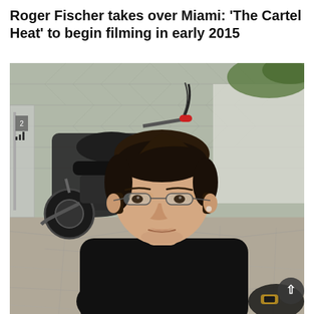Roger Fischer takes over Miami: 'The Cartel Heat' to begin filming in early 2015
[Figure (photo): A man with dark hair and thin-rimmed glasses wearing a black t-shirt, seated in front of a black motorcycle and a chain-link fence with greenery visible. Ground is cracked stone/gravel. Setting appears to be outdoors in a warm location.]